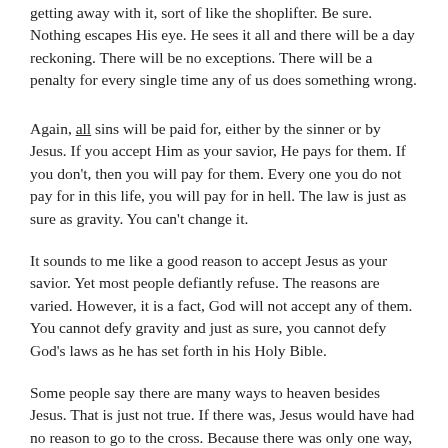getting away with it, sort of like the shoplifter.  Be sure.  Nothing escapes His eye.  He sees it all and there will be a day reckoning.  There will be no exceptions.  There will be a penalty for every single time any of us does something wrong.
Again, all sins will be paid for, either by the sinner or by Jesus.  If you accept Him as your savior, He pays for them.  If you don't, then you will pay for them.  Every one you do not pay for in this life, you will pay for in hell.  The law is just as sure as gravity.  You can't change it.
It sounds to me like a good reason to accept Jesus as your savior.  Yet most people defiantly refuse.  The reasons are varied.  However, it is a fact, God will not accept any of them.  You cannot defy gravity and just as sure, you cannot defy God's laws as he has set forth in his Holy Bible.
Some people say there are many ways to heaven besides Jesus.  That is just not true.  If there was, Jesus would have had no reason to go to the cross.  Because there was only one way, he bore all our sins on the cross.  It is the fulfillment of the law.  Because He paid the